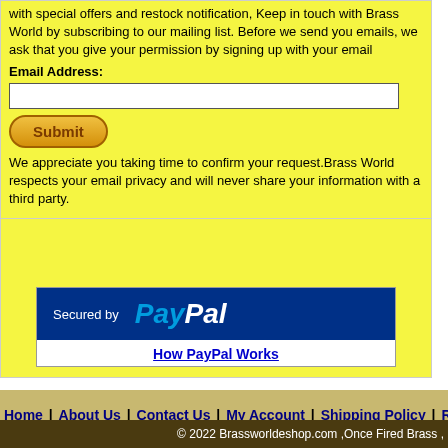with special offers and restock notification, Keep in touch with Brass World by subscribing to our mailing list. Before we send you emails, we ask that you give your permission by signing up with your email
Email Address:
We appreciate you taking time to confirm your request.Brass World respects your email privacy and will never share your information with a third party.
[Figure (logo): Secured by PayPal logo with blue background]
How PayPal Works
Home | About Us | Contact Us | My Account | Shipping Policy | Return Po
© 2022 Brassworldeshop.com ,Once Fired Brass ,